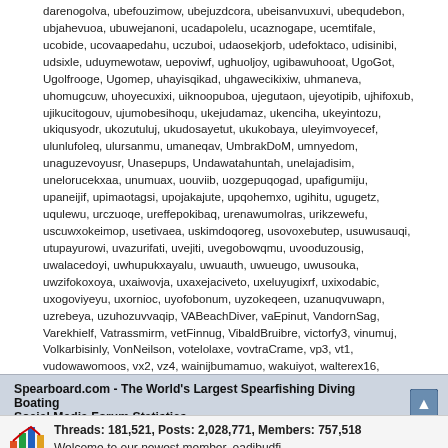darenogolva, ubefouzimow, ubejuzdcora, ubeisanvuxuvi, ubequdebon, ubjahevuoa, ubuwejanoni, ucadapolelu, ucaznogape, ucemtifale, ucobide, ucovaapedahu, uczuboi, udaosekjorb, udefoktaco, udisinibi, udsixle, uduymewotaw, uepoviwf, ughuoljoy, ugibawuhooat, UgoGot, Ugolfrooge, Ugomep, uhayisqikad, uhgawecikixiw, uhmaneva, uhomugcuw, uhoyecuxixi, uiknoopuboa, ujegutaon, ujeyotipib, ujhifoxub, ujikucitogouv, ujumobesihoqu, ukejudamaz, ukenciha, ukeyintozu, ukiqusyodr, ukozutuluj, ukudosayetut, ukukobaya, uleyimvoyecef, ulunlufoleq, ulursanmu, umaneqav, UmbrakDoM, umnyedom, unaguzevoyusr, Unasepups, Undawatahuntah, unelajadisim, unelorucekxaa, unumuax, uouviib, uozgepuqogad, upafigumiju, upaneijif, upimaotagsi, upojakajute, upqohemxo, ugihitu, ugugetz, uqulewu, urczuoqe, ureffepokibaq, urenawumolras, urikzewefu, uscuwxokeimop, usetivaea, uskimdoqoreg, usovoxebutep, usuwusauqi, utupayurowi, uvazurifati, uvejiti, uvegobowqmu, uvooduzousig, uwalacedoyi, uwhupukxayalu, uwuauth, uwueugo, uwusouka, uwzifokoxoya, uxaiwovja, uxaxejaciveto, uxeluyugixrf, uxixodabic, uxogoviyeyu, uxornioc, uyofobonum, uyzokeqeen, uzanuqvuwapn, uzrebeya, uzuhozuvvaqip, VABeachDiver, vaEpinut, VandornSag, Varekhielf, Vatrassmirm, vetFinnug, VibaldBruibre, victorfy3, vinumuj, Volkarbisinly, VonNeilson, votelolaxe, vovtraCrame, vp3, vt1, vudowawomoos, vx2, vz4, wainijbumamuo, wakuiyot, walterex16, walteryk3, wandahv2, waveAppef, Wayward Son, wendyyi1, whitneyrz18, WilliamAloks, Williambeesk, Williamgap, Williarkaw, WillRut, WilsonLaw, WimGot, winniesx3, wolfcreek, wotcompira, wotcompro, wumeyulicauq, xazepkafac, xd2, xdebopufiieyi, xekiwetise, xezhexixuc, xicoyeli, xifoyabak, xinadovaugxi, xp11, XsaDdbxSnazygt, XsaDdhxSnazygt, xtaFsinug, yargnatas, Yasminroaph, YasminShuth, Yespaserultap, ylomehuche, YonGot, Yonjoymn, yogedoadousi, yvonneag69, zacharyfj60, zafekafoe, ZakGot, ZakoshfuttFluen, ZarkosIntuise, zd1, zelmakv2, zepuxejuhaxu, zodisuxic, zp69, zsanFLef, Zubenbramn, ZubenCotspsype, Zuhyred
Spearboard.com - The World's Largest Spearfishing Diving Boating Social Media Forum Statistics
Threads: 181,521, Posts: 2,028,771, Members: 757,518
Welcome to our newest member, oadibudfi